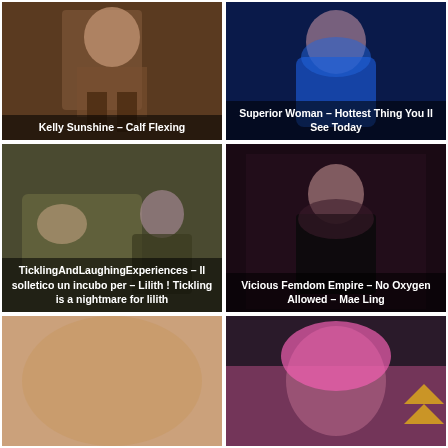[Figure (photo): Woman sitting on a stool, dark background – thumbnail with caption 'Kelly Sunshine – Calf Flexing']
[Figure (photo): Woman in blue bodysuit posing – thumbnail with caption 'Superior Woman – Hottest Thing You ll See Today']
[Figure (photo): Two people on a couch, tickling scene – thumbnail with caption 'TicklingAndLaughingExperiences – Il solletico un incubo per – Lilith ! Tickling is a nightmare for lilith']
[Figure (photo): Woman in black corset and leather outfit – thumbnail with caption 'Vicious Femdom Empire – No Oxygen Allowed – Mae Ling']
[Figure (photo): Close-up skin photo – partial thumbnail visible]
[Figure (photo): Person with pink hat covering face, yellow chevron icon – partial thumbnail visible]